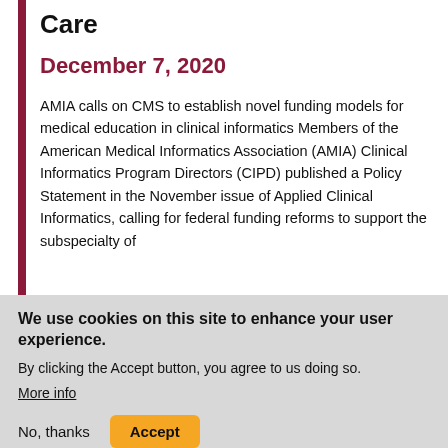Care
December 7, 2020
AMIA calls on CMS to establish novel funding models for medical education in clinical informatics Members of the American Medical Informatics Association (AMIA) Clinical Informatics Program Directors (CIPD) published a Policy Statement in the November issue of Applied Clinical Informatics, calling for federal funding reforms to support the subspecialty of
We use cookies on this site to enhance your user experience.
By clicking the Accept button, you agree to us doing so.
More info
No, thanks    Accept